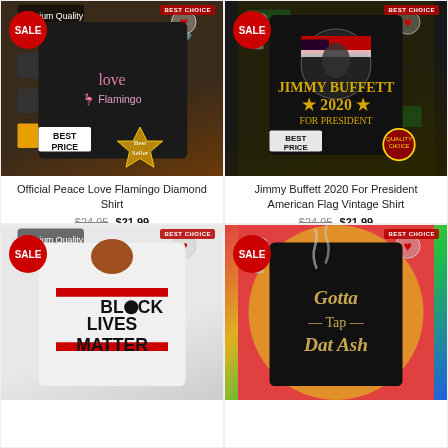[Figure (photo): Official Peace Love Flamingo Diamond Shirt product image with SALE badge, BEST CHOICE badge, BEST PRICE label, Best Seller emblem]
Official Peace Love Flamingo Diamond Shirt
$24.95  $21.99
[Figure (photo): Jimmy Buffett 2020 For President American Flag Vintage Shirt product image with SALE badge, BEST CHOICE badge, BEST PRICE label, Quality badge]
Jimmy Buffett 2020 For President American Flag Vintage Shirt
$24.95  $21.99
[Figure (photo): Black Lives Matter shirt product image with SALE badge, BEST CHOICE badge, Premium Quality label]
[Figure (photo): Gotta Tap Dat Ash shirt on tie-dye background with SALE badge, BEST CHOICE badge]